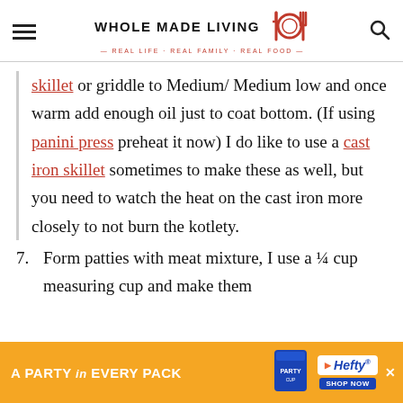WHOLE MADE LIVING — REAL LIFE · REAL FAMILY · REAL FOOD
skillet or griddle to Medium/ Medium low and once warm add enough oil just to coat bottom. (If using panini press preheat it now) I do like to use a cast iron skillet sometimes to make these as well, but you need to watch the heat on the cast iron more closely to not burn the kotlety.
7. Form patties with meat mixture, I use a ¼ cup measuring cup and make them
[Figure (infographic): Advertisement banner: orange background with 'A PARTY in EVERY PACK' text, Hefty party cups product image, Hefty logo badge, and 'SHOP NOW' button.]